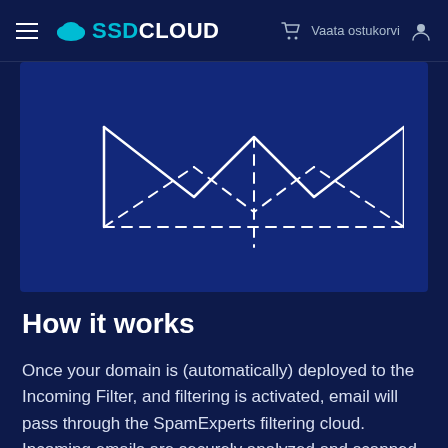≡  SSD CLOUD  🛒 Vaata ostukorvi  👤
[Figure (illustration): Dark blue background panel with a white envelope/email icon outline drawn in white lines — solid lines for outer envelope shape, dashed lines for inner diamond/folded pattern, suggesting email filtering concept.]
How it works
Once your domain is (automatically) deployed to the Incoming Filter, and filtering is activated, email will pass through the SpamExperts filtering cloud. Incoming emails are securely analyzed and scanned in real time. No training